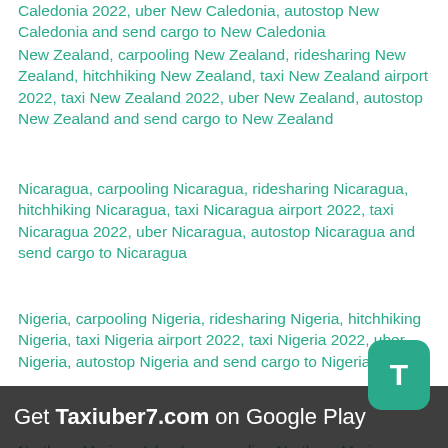Caledonia 2022, uber New Caledonia, autostop New Caledonia and send cargo to New Caledonia
New Zealand, carpooling New Zealand, ridesharing New Zealand, hitchhiking New Zealand, taxi New Zealand airport 2022, taxi New Zealand 2022, uber New Zealand, autostop New Zealand and send cargo to New Zealand
Nicaragua, carpooling Nicaragua, ridesharing Nicaragua, hitchhiking Nicaragua, taxi Nicaragua airport 2022, taxi Nicaragua 2022, uber Nicaragua, autostop Nicaragua and send cargo to Nicaragua
Nigeria, carpooling Nigeria, ridesharing Nigeria, hitchhiking Nigeria, taxi Nigeria airport 2022, taxi Nigeria 2022, uber Nigeria, autostop Nigeria and send cargo to Nigeria
Northern Mariana Islands, carpooling Northern Mariana Islands, ridesharing Northern Mariana Islands, hitchhiking Northern Mariana Islands, taxi Northern Mariana Islands airport 2022, taxi Northern Mariana Islands 2022, uber Northern Mariana Islands, autostop Northern Mariana Islands and send cargo to Northern Mariana Islands
Norway, carpooling Norway, ridesharing Norway, hitchhiking Norway, taxi Norway airport 2022, taxi Norway 2022, uber Norway, autostop Norway and send cargo to Norway
Get Taxiuber7.com on Google Play